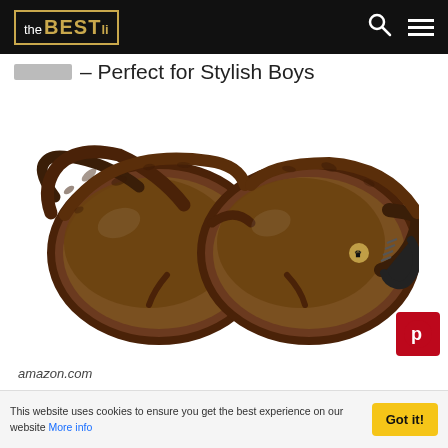the BEST li
– Perfect for Stylish Boys
[Figure (photo): Tortoiseshell aviator sunglasses with brown lenses and dark arms, photographed on white background. Brand logo visible on arm.]
amazon.com
SHOP NOW
This website uses cookies to ensure you get the best experience on our website More info  Got it!